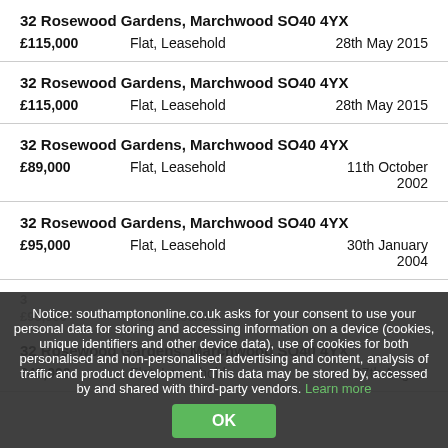32 Rosewood Gardens, Marchwood SO40 4YX
£115,000   Flat, Leasehold   28th May 2015
32 Rosewood Gardens, Marchwood SO40 4YX
£115,000   Flat, Leasehold   28th May 2015
32 Rosewood Gardens, Marchwood SO40 4YX
£89,000   Flat, Leasehold   11th October 2002
32 Rosewood Gardens, Marchwood SO40 4YX
£95,000   Flat, Leasehold   30th January 2004
32 Rosewood Gardens, Marchwood SO40 4YX
£95,000   Flat, Leasehold
32 Rosewood Gardens, Marchwood SO40 4YX
£45,000   Flat, Leasehold   27th August
Notice: southamptononline.co.uk asks for your consent to use your personal data for storing and accessing information on a device (cookies, unique identifiers and other device data), use of cookies for both personalised and non-personalised advertising and content, analysis of traffic and product development. This data may be stored by, accessed by and shared with third-party vendors. Learn more